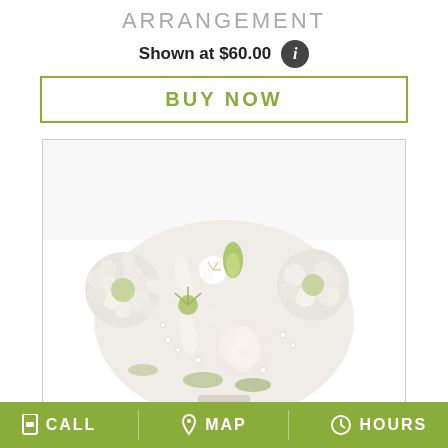ARRANGEMENT
Shown at $60.00
BUY NOW
[Figure (photo): A bouquet of white flowers including lilies, roses, chrysanthemums, and smaller white blooms arranged together against a white background.]
CALL  MAP  HOURS